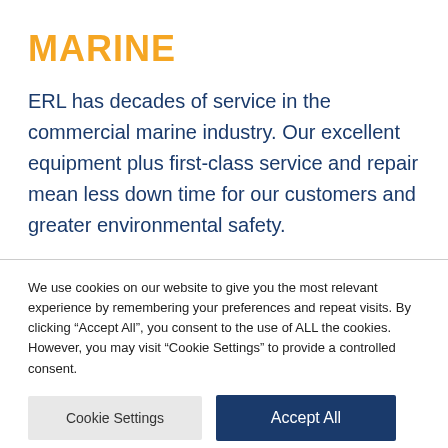MARINE
ERL has decades of service in the commercial marine industry. Our excellent equipment plus first-class service and repair mean less down time for our customers and greater environmental safety.
We use cookies on our website to give you the most relevant experience by remembering your preferences and repeat visits. By clicking “Accept All”, you consent to the use of ALL the cookies. However, you may visit “Cookie Settings” to provide a controlled consent.